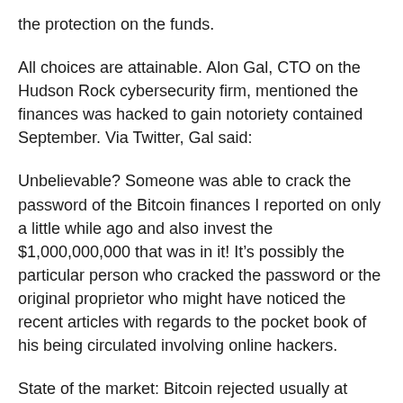the protection on the funds.
All choices are attainable. Alon Gal, CTO on the Hudson Rock cybersecurity firm, mentioned the finances was hacked to gain notoriety contained September. Via Twitter, Gal said:
Unbelievable? Someone was able to crack the password of the Bitcoin finances I reported on only a little while ago and also invest the $1,000,000,000 that was in it! It’s possibly the particular person who cracked the password or the original proprietor who might have noticed the recent articles with regards to the pocket book of his being circulated involving online hackers.
State of the market: Bitcoin rejected usually at $14,000 Meanwhile, Bitcoin was rejected again right after attaining the $14,000 mark when the finances was getting emptied as well as the U.S. presidential election was happening. In